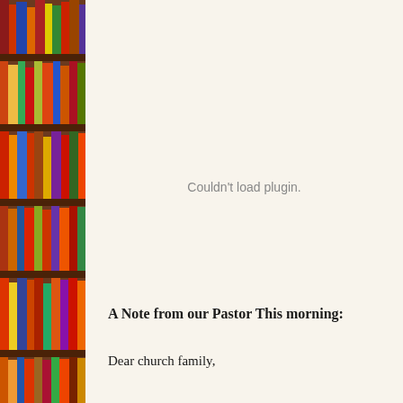[Figure (photo): A vertical strip of colorful books on wooden bookshelves, shown along the left edge of the page.]
Couldn't load plugin.
A Note from our Pastor This morning:
Dear church family,